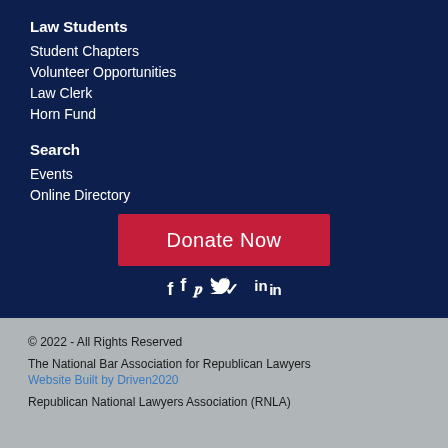Law Students
Student Chapters
Volunteer Opportunities
Law Clerk
Horn Fund
Search
Events
Online Directory
Donate Now
[Figure (other): Social media icons: Facebook (f), Twitter (bird), LinkedIn (in)]
© 2022 - All Rights Reserved
The National Bar Association for Republican Lawyers
Website Built by Driven2020
Republican National Lawyers Association (RNLA)